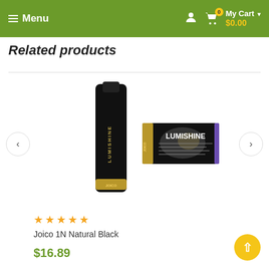Menu | My Cart $0.00
Related products
[Figure (photo): Joico Lumishine hair color product: a black tube and a black/gold box with colorful label]
★★★★★
Joico 1N Natural Black
$16.89